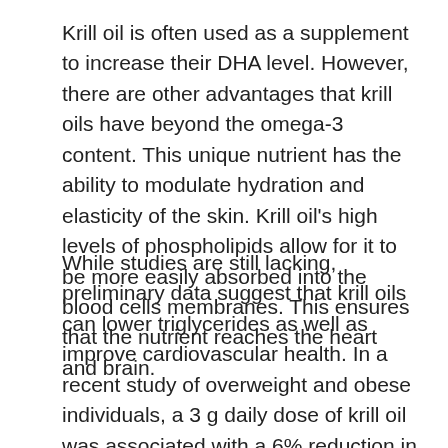Krill oil is often used as a supplement to increase their DHA level. However, there are other advantages that krill oils have beyond the omega-3 content. This unique nutrient has the ability to modulate hydration and elasticity of the skin. Krill oil's high levels of phospholipids allow for it to be more easily absorbed into the blood cells membranes. This ensures that the nutrient reaches the heart and brain.
While studies are still lacking, preliminary data suggest that krill oils can lower triglycerides as well as improve cardiovascular health. In a recent study of overweight and obese individuals, a 3 g daily dose of krill oil was associated with a 6% reduction in triglyceride levels, and a 5 to 10% drop in total cholesterol.